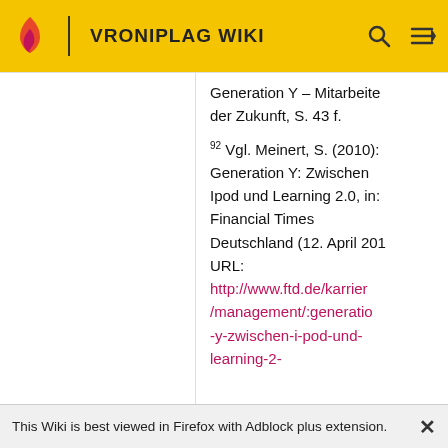VRONIPLAG WIKI
Generation Y – Mitarbeiter der Zukunft, S. 43 f.
92 Vgl. Meinert, S. (2010): Generation Y: Zwischen Ipod und Learning 2.0, in: Financial Times Deutschland (12. April 201 URL: http://www.ftd.de/karrier/management/:generatio-y-zwischen-i-pod-und-learning-2-
This Wiki is best viewed in Firefox with Adblock plus extension.